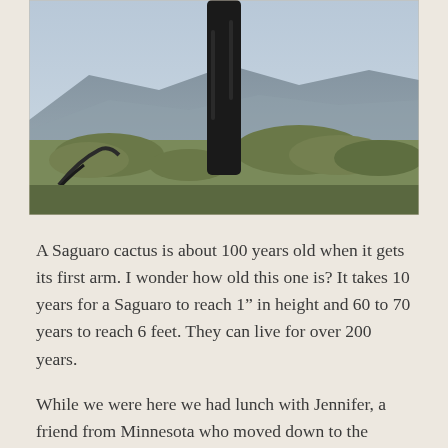[Figure (photo): A tall Saguaro cactus in the foreground with desert shrubs and mountains in the background under a hazy sky.]
A Saguaro cactus is about 100 years old when it gets its first arm. I wonder how old this one is? It takes 10 years for a Saguaro to reach 1" in height and 60 to 70 years to reach 6 feet. They can live for over 200 years.
While we were here we had lunch with Jennifer, a friend from Minnesota who moved down to the Phoenix area, and her friend Melanie. We